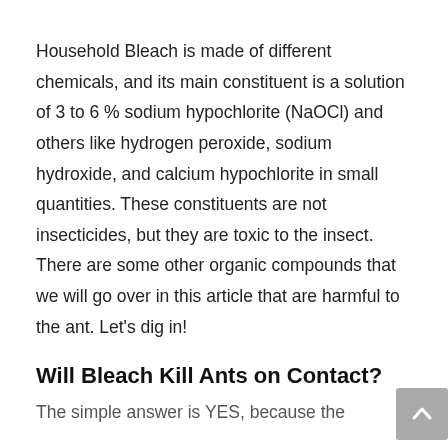Household Bleach is made of different chemicals, and its main constituent is a solution of 3 to 6 % sodium hypochlorite (NaOCl) and others like hydrogen peroxide, sodium hydroxide, and calcium hypochlorite in small quantities. These constituents are not insecticides, but they are toxic to the insect. There are some other organic compounds that we will go over in this article that are harmful to the ant. Let's dig in!
Will Bleach Kill Ants on Contact?
The simple answer is YES, because the